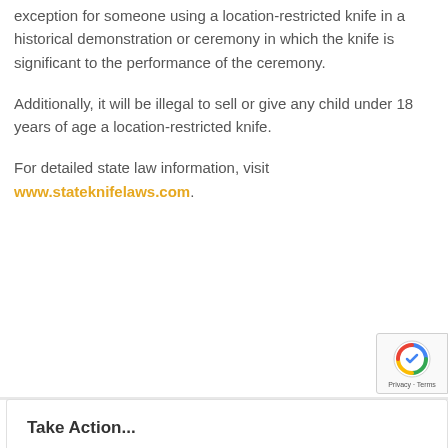exception for someone using a location-restricted knife in a historical demonstration or ceremony in which the knife is significant to the performance of the ceremony.
Additionally, it will be illegal to sell or give any child under 18 years of age a location-restricted knife.
For detailed state law information, visit www.stateknifelaws.com.
Take Action...